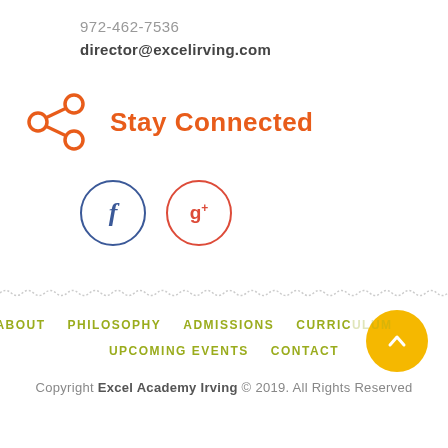972-462-7536
director@excelirving.com
Stay Connected
[Figure (illustration): Social media share icon (orange) and two social media circle buttons: Facebook (blue) and Google+ (red)]
ABOUT   PHILOSOPHY   ADMISSIONS   CURRICULUM   UPCOMING EVENTS   CONTACT
Copyright Excel Academy Irving © 2019. All Rights Reserved